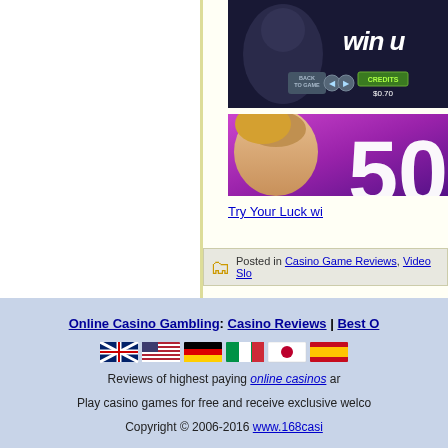[Figure (screenshot): Casino game screenshot showing dark background with 'win up' text and game controls including BACK TO GAME button, navigation arrows, CREDITS button showing $0.70]
[Figure (photo): Casino promotional banner with woman's face on purple/pink gradient background showing number 50]
Try Your Luck wi...
Posted in Casino Game Reviews, Video Slo...
Online Casino Gambling: Casino Reviews | Best O...
[Figure (illustration): Row of country flag icons: UK, US, Germany, Italy, Japan, Spain]
Reviews of highest paying online casinos ar...
Play casino games for free and receive exclusive welco...
Copyright © 2006-2016 www.168casi...